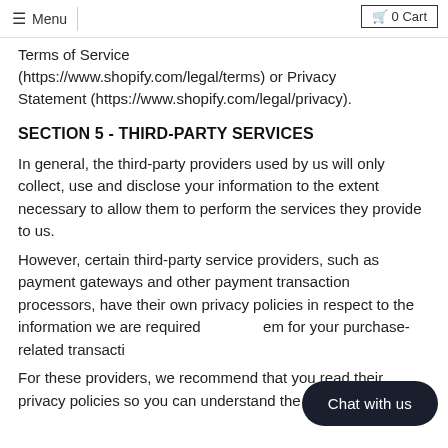Menu | 0 Cart
Terms of Service (https://www.shopify.com/legal/terms) or Privacy Statement (https://www.shopify.com/legal/privacy).
SECTION 5 - THIRD-PARTY SERVICES
In general, the third-party providers used by us will only collect, use and disclose your information to the extent necessary to allow them to perform the services they provide to us.
However, certain third-party service providers, such as payment gateways and other payment transaction processors, have their own privacy policies in respect to the information we are required to provide to them for your purchase-related transactions.
For these providers, we recommend that you read their privacy policies so you can understand the
[Figure (other): Chat with us button overlay widget]